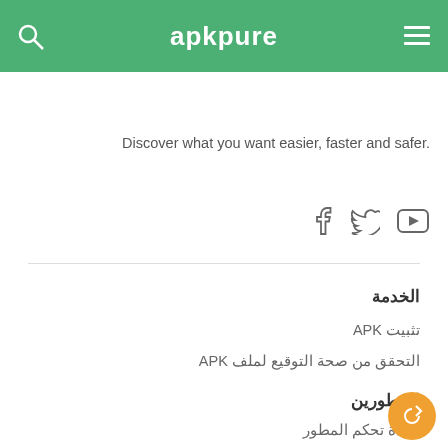apkpure
Discover what you want easier, faster and safer.
[Figure (other): Social media icons: YouTube, Twitter, Facebook]
الخدمة
تثبيت APK
التحقق من صحة التوقيع لملف APK
المطورين
وحدة تحكم المطور
إرسال APK
شركة
حول
اتصل بنا